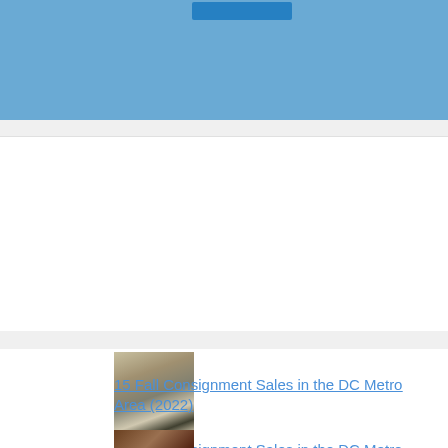[Figure (other): Blue header banner with a blue button element at top]
[Figure (photo): Small thumbnail photo of a family shopping in a store aisle]
15 Fall Consignment Sales in the DC Metro Area (2022)
[Figure (photo): Small thumbnail photo partially visible at bottom]